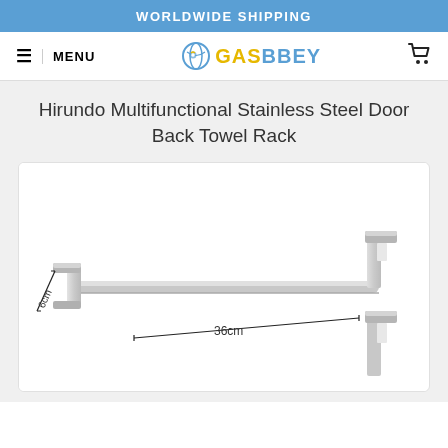WORLDWIDE SHIPPING
≡ MENU   GASBBEY   🛒
Hirundo Multifunctional Stainless Steel Door Back Towel Rack
[Figure (photo): Product photo of a stainless steel door back towel rack. The rack has two bracket hooks on either end and a horizontal cylindrical bar. Dimension annotations show 36cm for the bar length and 6cm for the bracket height.]